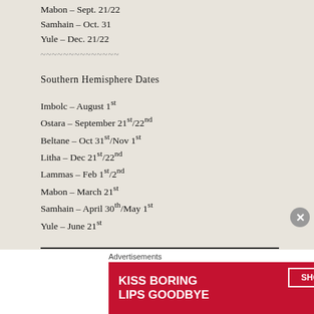Mabon – Sept. 21/22
Samhain – Oct. 31
Yule – Dec. 21/22
~~~~~~~~~~~~~~
Southern Hemisphere Dates
Imbolc – August 1st
Ostara – September 21st/22nd
Beltane – Oct 31st/Nov 1st
Litha – Dec 21st/22nd
Lammas – Feb 1st/2nd
Mabon – March 21st
Samhain – April 30th/May 1st
Yule – June 21st
Follow Witches Of The Craft®
Advertisements
[Figure (infographic): Macy's lipstick advertisement banner with red background. Text: KISS BORING LIPS GOODBYE. SHOP NOW. Macy's star logo.]